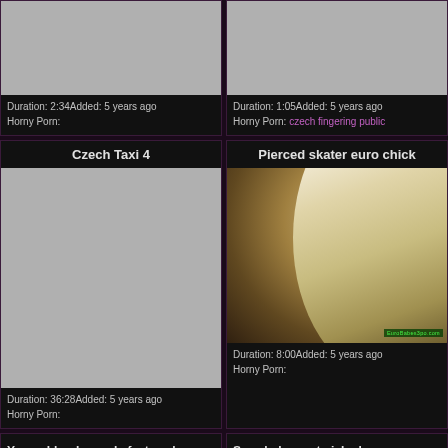[Figure (photo): Video thumbnail placeholder gray]
Duration: 2:34Added: 5 years ago
Horny Porn:
[Figure (photo): Video thumbnail placeholder gray]
Duration: 1:05Added: 5 years ago
Horny Porn: czech fingering public
Czech Taxi 4
[Figure (photo): Video thumbnail placeholder gray large]
Duration: 36:28Added: 5 years ago
Horny Porn:
Pierced skater euro chick
[Figure (photo): Blonde woman outdoor scene video thumbnail]
Duration: 8:00Added: 5 years ago
Horny Porn:
Young blonde needs fast cash
Sexy babes get picked up on